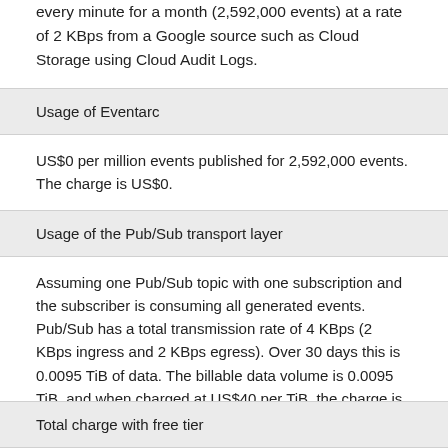every minute for a month (2,592,000 events) at a rate of 2 KBps from a Google source such as Cloud Storage using Cloud Audit Logs.
Usage of Eventarc
US$0 per million events published for 2,592,000 events. The charge is US$0.
Usage of the Pub/Sub transport layer
Assuming one Pub/Sub topic with one subscription and the subscriber is consuming all generated events. Pub/Sub has a total transmission rate of 4 KBps (2 KBps ingress and 2 KBps egress). Over 30 days this is 0.0095 TiB of data. The billable data volume is 0.0095 TiB, and when charged at US$40 per TiB, the charge is US$0.38. However, the free tier of the first 10 GB would reduce the charge to US$0.
Total charge with free tier